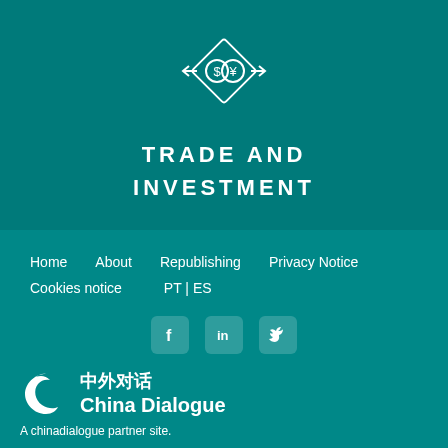[Figure (illustration): Diamond-shaped icon with a dollar sign and yen sign coin symbols inside, outlined in white on teal background]
TRADE AND INVESTMENT
Home   About   Republishing   Privacy Notice
Cookies notice   PT | ES
[Figure (illustration): Social media icons: Facebook, LinkedIn, Twitter in white on slightly transparent rounded square backgrounds]
[Figure (logo): China Dialogue logo: circular swirl icon with Chinese characters 中外对话 and English text China Dialogue]
A chinadialogue partner site.